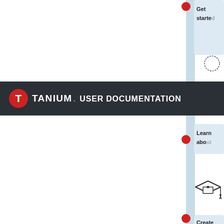[Figure (infographic): Tanium User Documentation page header with dark background, Tanium logo (red circle with T icon), and text 'TANIUM USER DOCUMENTATION'. Below and above are parts of a vertical flowchart/timeline with red dots, light blue vertical line, and light blue cards labeled 'Get started', 'Learn about', 'Create rule'. A graduation cap icon is visible.]
TANIUM USER DOCUMENTATION